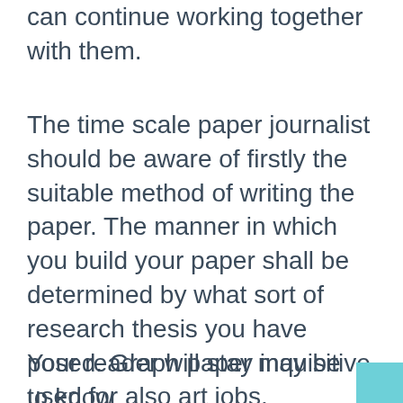can continue working together with them.
The time scale paper journalist should be aware of firstly the suitable method of writing the paper. The manner in which you build your paper shall be determined by what sort of research thesis you have posed. Graph paper may be used for also art jobs.
Your reader will stay inquisitive to know